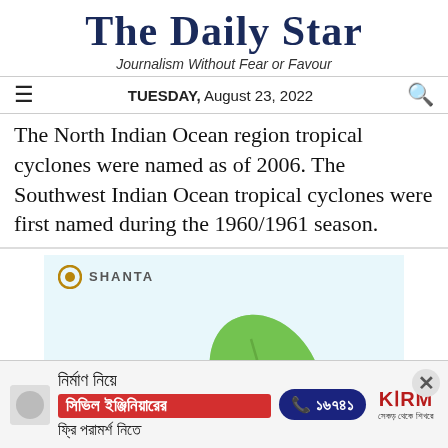The Daily Star
Journalism Without Fear or Favour
TUESDAY, August 23, 2022
The North Indian Ocean region tropical cyclones were named as of 2006. The Southwest Indian Ocean tropical cyclones were first named during the 1960/1961 season.
[Figure (other): Shanta Holdings advertisement showing logo and a green leaf on light blue background]
[Figure (other): Bottom banner advertisement: Bangla text with red box, phone number 16749 in dark blue pill, KSRM logo]